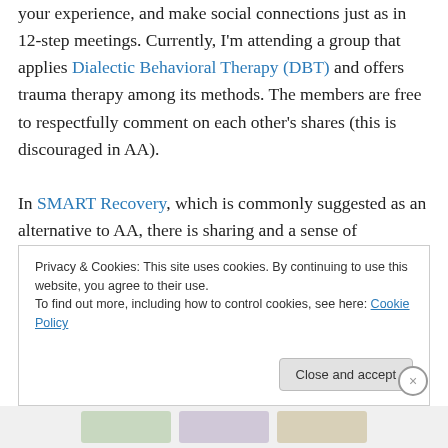your experience, and make social connections just as in 12-step meetings. Currently, I'm attending a group that applies Dialectic Behavioral Therapy (DBT) and offers trauma therapy among its methods. The members are free to respectfully comment on each other's shares (this is discouraged in AA).

In SMART Recovery, which is commonly suggested as an alternative to AA, there is sharing and a sense of community, but there is an official facilitator and you graduate when you've completed the program. There is also Refuge Recovery, which uses some Buddhist
Privacy & Cookies: This site uses cookies. By continuing to use this website, you agree to their use.
To find out more, including how to control cookies, see here: Cookie Policy
Close and accept